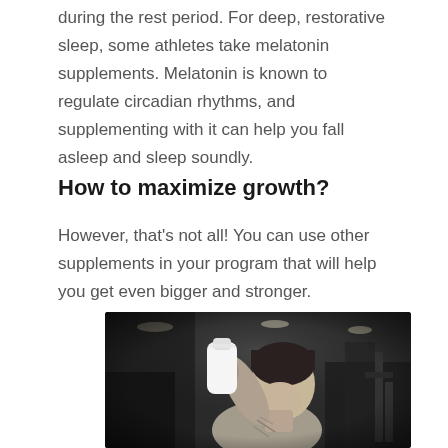during the rest period. For deep, restorative sleep, some athletes take melatonin supplements. Melatonin is known to regulate circadian rhythms, and supplementing with it can help you fall asleep and sleep soundly.
How to maximize growth?
However, that's not all! You can use other supplements in your program that will help you get even bigger and stronger.
[Figure (photo): Black and white photo of a muscular, tattooed male athlete drinking from a white shaker bottle in a gym setting]